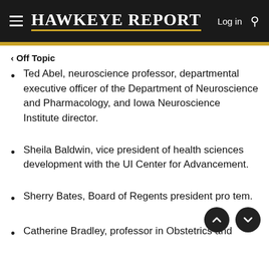Hawkeye Report  Log in
< Off Topic
Ted Abel, neuroscience professor, departmental executive officer of the Department of Neuroscience and Pharmacology, and Iowa Neuroscience Institute director.
Sheila Baldwin, vice president of health sciences development with the UI Center for Advancement.
Sherry Bates, Board of Regents president pro tem.
Catherine Bradley, professor in Obstetrics and